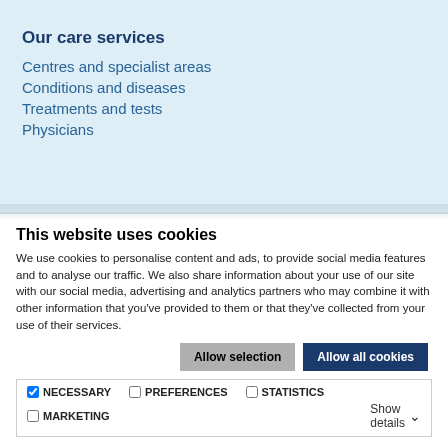Our care services
Centres and specialist areas
Conditions and diseases
Treatments and tests
Physicians
This website uses cookies
We use cookies to personalise content and ads, to provide social media features and to analyse our traffic. We also share information about your use of our site with our social media, advertising and analytics partners who may combine it with other information that you've provided to them or that they've collected from your use of their services.
Allow selection | Allow all cookies
NECESSARY  PREFERENCES  STATISTICS  MARKETING  Show details